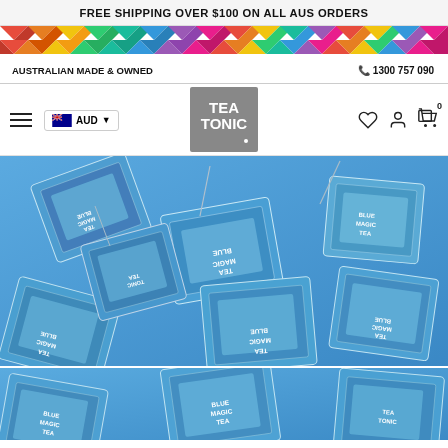FREE SHIPPING OVER $100 ON ALL AUS ORDERS
[Figure (illustration): Rainbow colorful geometric diamond/triangle pattern strip]
AUSTRALIAN MADE & OWNED    📞 1300 757 090
[Figure (logo): Tea Tonic logo - grey square with white handwritten text TEA TONIC]
[Figure (photo): Close-up photo of many blue Tea Tonic Blue Magic Tea individual foil tea bag packets scattered together]
[Figure (photo): Partial view of more blue Tea Tonic Blue Magic Tea packets at bottom of page]